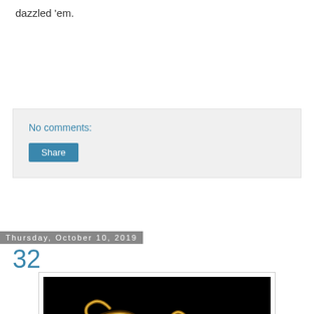dazzled 'em.
No comments:
Share
Thursday, October 10, 2019
32
[Figure (photo): Light painting photograph showing the number 32 written in glowing golden light trails against a black background]